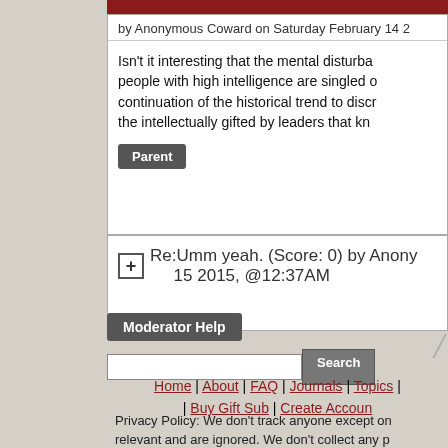by Anonymous Coward on Saturday February 14 2
Isn't it interesting that the mental disturba people with high intelligence are singled o continuation of the historical trend to discr the intellectually gifted by leaders that kn
Parent
Re:Umm yeah. (Score: 0) by Anony 15 2015, @12:37AM
Moderator Help
Home | About | FAQ | Journals | Topics | | Buy Gift Sub | Create Accoun
Privacy Policy: We don't track anyone except on relevant and are ignored. We don't collect any p you except your email address, which: you can c in the first place, is only used to contact you if n with nobody.